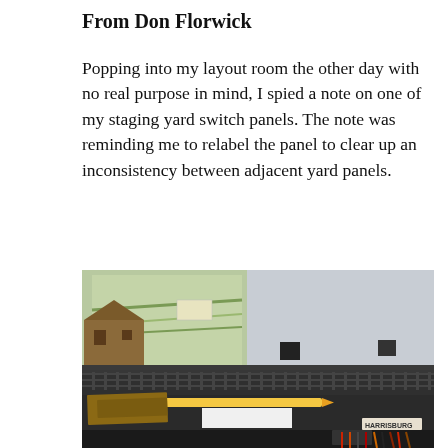From Don Florwick
Popping into my layout room the other day with no real purpose in mind, I spied a note on one of my staging yard switch panels. The note was reminding me to relabel the panel to clear up an inconsistency between adjacent yard panels.
[Figure (photo): A model railroad staging yard panel viewed at an angle, showing model train tracks on a dark benchwork surface. A yellow pencil, white paper, and cardboard pieces rest on the surface. A model building structure is visible at the left, and a colorful map is propped in the background. Wiring and electrical components are visible underneath the table at the lower right. A label reading 'HARRISBURG' is partially visible.]